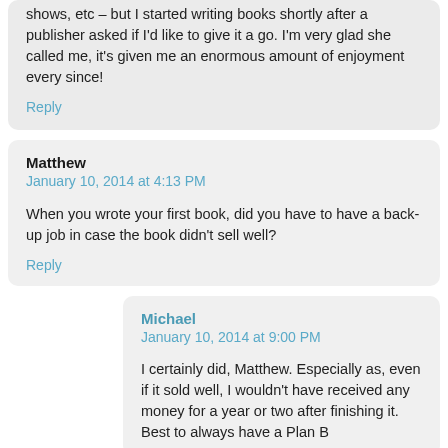shows, etc – but I started writing books shortly after a publisher asked if I'd like to give it a go. I'm very glad she called me, it's given me an enormous amount of enjoyment every since!
Reply
Matthew
January 10, 2014 at 4:13 PM
When you wrote your first book, did you have to have a back-up job in case the book didn't sell well?
Reply
Michael
January 10, 2014 at 9:00 PM
I certainly did, Matthew. Especially as, even if it sold well, I wouldn't have received any money for a year or two after finishing it. Best to always have a Plan B